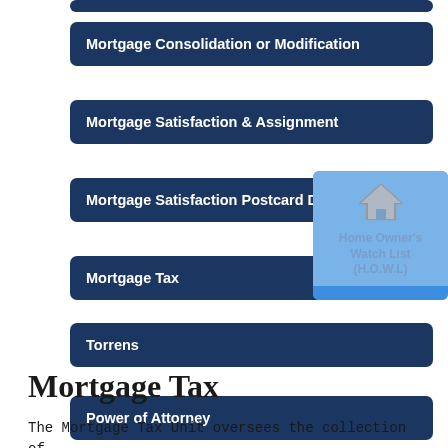Mortgage Consolidation or Modification
Mortgage Satisfaction & Assignment
Mortgage Satisfaction Postcard Details
Mortgage Tax
Torrens
Power of Attorney
[Figure (infographic): Home Owner's Watch List (H.O.W.L) popup overlay with house icon on light blue background]
Mortgage Tax
The Mortgage Tax Unit oversees the collection of